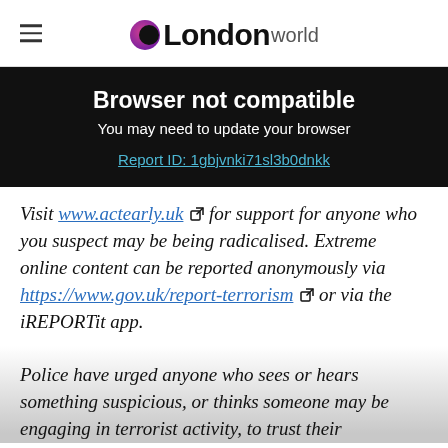LondonWorld
Browser not compatible
You may need to update your browser
Report ID: 1gbjvnki71sl3b0dnkk
Visit www.actearly.uk for support for anyone who you suspect may be being radicalised. Extreme online content can be reported anonymously via https://www.gov.uk/report-terrorism or via the iREPORTit app.
Police have urged anyone who sees or hears something suspicious, or thinks someone may be engaging in terrorist activity, to trust their